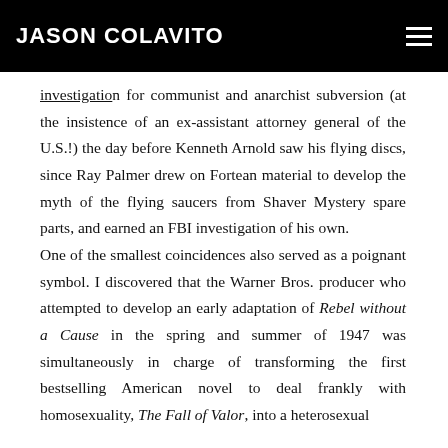JASON COLAVITO
subversion (at the insistence of an ex-assistant attorney general of the U.S.!) the day before Kenneth Arnold saw his flying discs, since Ray Palmer drew on Fortean material to develop the myth of the flying saucers from Shaver Mystery spare parts, and earned an FBI investigation of his own.

One of the smallest coincidences also served as a poignant symbol. I discovered that the Warner Bros. producer who attempted to develop an early adaptation of Rebel without a Cause in the spring and summer of 1947 was simultaneously in charge of transforming the first bestselling American novel to deal frankly with homosexuality, The Fall of Valor, into a heterosexual